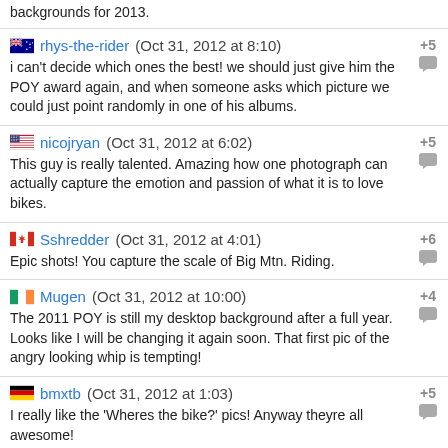backgrounds for 2013.
rhys-the-rider (Oct 31, 2012 at 8:10) +5
i can't decide which ones the best! we should just give him the POY award again, and when someone asks which picture we could just point randomly in one of his albums.
nicojryan (Oct 31, 2012 at 6:02) +5
This guy is really talented. Amazing how one photograph can actually capture the emotion and passion of what it is to love bikes.
Sshredder (Oct 31, 2012 at 4:01) +6
Epic shots! You capture the scale of Big Mtn. Riding.
Mugen (Oct 31, 2012 at 10:00) +4
The 2011 POY is still my desktop background after a full year. Looks like I will be changing it again soon. That first pic of the angry looking whip is tempting!
bmxtb (Oct 31, 2012 at 1:03) +5
I really like the 'Wheres the bike?' pics! Anyway theyre all awesome!